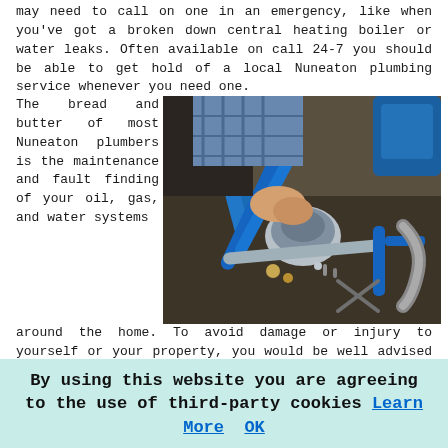may need to call on one in an emergency, like when you've got a broken down central heating boiler or water leaks. Often available on call 24-7 you should be able to get hold of a local Nuneaton plumbing service whenever you need one.
The bread and butter of most Nuneaton plumbers is the maintenance and fault finding of your oil, gas, and water systems around the home. To avoid damage or injury to yourself or your property, you would be well advised that you do not try to mend or maintain these systems yourself, unless of course you're fully qualified.
[Figure (photo): A person working with blue-handled plumbing tools and plumbing fittings on a workbench covered with various plumbing components, pipes, and fittings.]
When searching for a Nuneaton plumber to deal with your oil
By using this website you are agreeing to the use of third-party cookies Learn More  OK